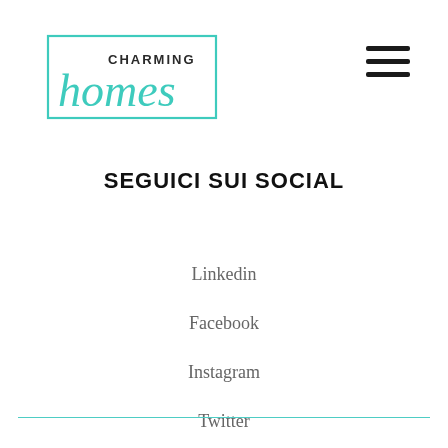[Figure (logo): Charming Homes logo with teal script 'homes' and serif 'CHARMING' text inside a teal rectangle border]
SEGUICI SUI SOCIAL
Linkedin
Facebook
Instagram
Twitter